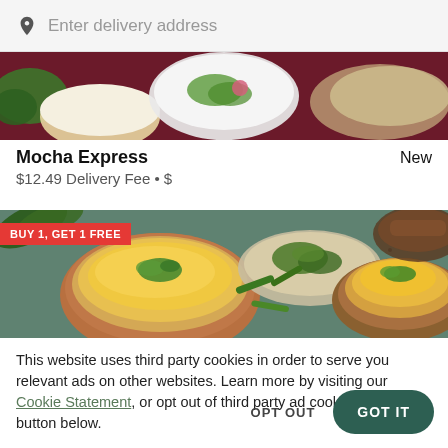Enter delivery address
[Figure (photo): Top partial view of a restaurant food photo showing bowls with food on a dark red/maroon background]
Mocha Express
New
$12.49 Delivery Fee • $
[Figure (photo): Overhead view of Indian food dishes including yellow rice/dal in bowls on a dark stone surface with green chilies and herbs, with a red BUY 1, GET 1 FREE promotional banner]
This website uses third party cookies in order to serve you relevant ads on other websites. Learn more by visiting our Cookie Statement, or opt out of third party ad cookies using the button below.
OPT OUT
GOT IT